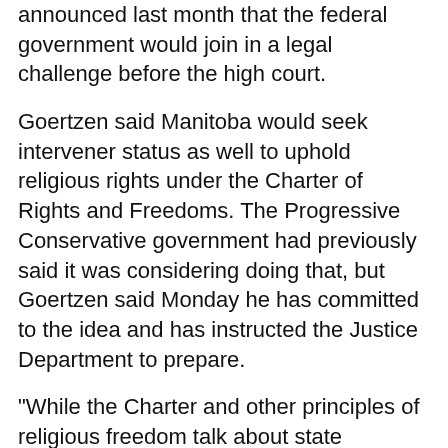announced last month that the federal government would join in a legal challenge before the high court.
Goertzen said Manitoba would seek intervener status as well to uphold religious rights under the Charter of Rights and Freedoms. The Progressive Conservative government had previously said it was considering doing that, but Goertzen said Monday he has committed to the idea and has instructed the Justice Department to prepare.
"While the Charter and other principles of religious freedom talk about state neutrality, what Quebec is looking at isn't what I would argue to be neutrality," Goertzen said.
"Neutrality involves the state not promoting one religion over the other. That's not the same thing as barring or banning religious symbols."